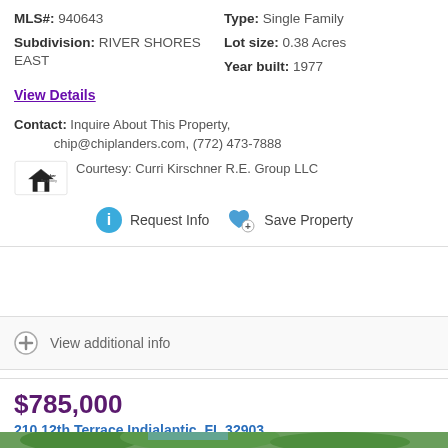MLS#: 940643   Type: Single Family
Subdivision: RIVER SHORES EAST   Lot size: 0.38 Acres
Year built: 1977
View Details
Contact: Inquire About This Property, chip@chiplanders.com, (772) 473-7888
Courtesy: Curri Kirschner R.E. Group LLC
Request Info   Save Property
View additional info
$785,000
210 12th Terrace Indialantic, FL 32903
[Figure (photo): Outdoor photo showing trees with green foliage against a blue sky]